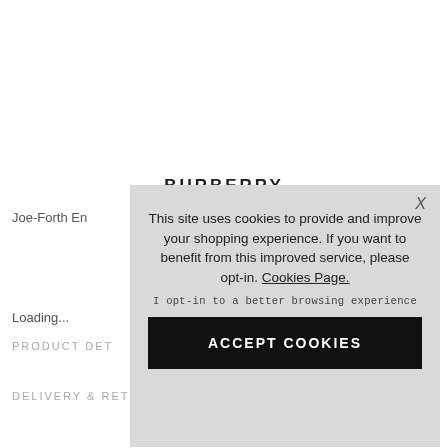BURBERRY
Joe-Forth En...
Loading...
PRODUCT DET...
DELIVERY & RETURNS
This site uses cookies to provide and improve your shopping experience. If you want to benefit from this improved service, please opt-in. Cookies Page.
I opt-in to a better browsing experience
ACCEPT COOKIES